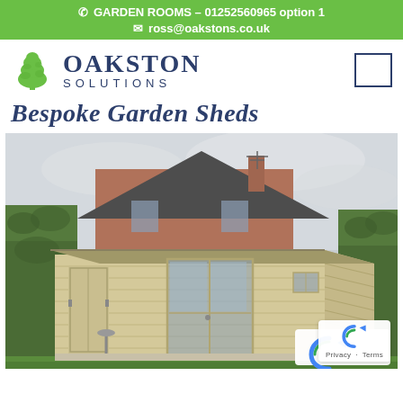GARDEN ROOMS – 01252560965 option 1 | ross@oakstons.co.uk
[Figure (logo): Oakston Solutions logo with tree icon, company name 'OAKSTON SOLUTIONS', and hamburger menu box]
Bespoke Garden Sheds
[Figure (photo): Photo of a bespoke wooden garden room/shed with flat roof, double French doors, and side window, set in a garden with hedgerows and a brick house visible in the background. reCAPTCHA badge visible bottom right.]